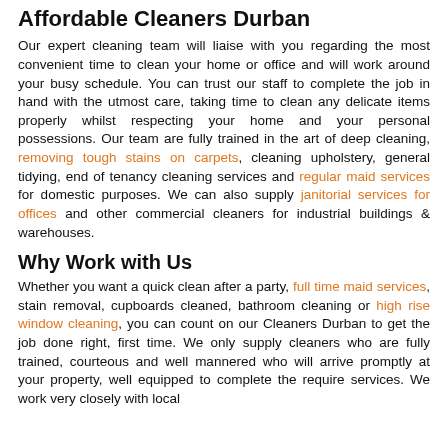Affordable Cleaners Durban
Our expert cleaning team will liaise with you regarding the most convenient time to clean your home or office and will work around your busy schedule. You can trust our staff to complete the job in hand with the utmost care, taking time to clean any delicate items properly whilst respecting your home and your personal possessions. Our team are fully trained in the art of deep cleaning, removing tough stains on carpets, cleaning upholstery, general tidying, end of tenancy cleaning services and regular maid services for domestic purposes. We can also supply janitorial services for offices and other commercial cleaners for industrial buildings & warehouses.
Why Work with Us
Whether you want a quick clean after a party, full time maid services, stain removal, cupboards cleaned, bathroom cleaning or high rise window cleaning, you can count on our Cleaners Durban to get the job done right, first time. We only supply cleaners who are fully trained, courteous and well mannered who will arrive promptly at your property, well equipped to complete the require services. We work very closely with local